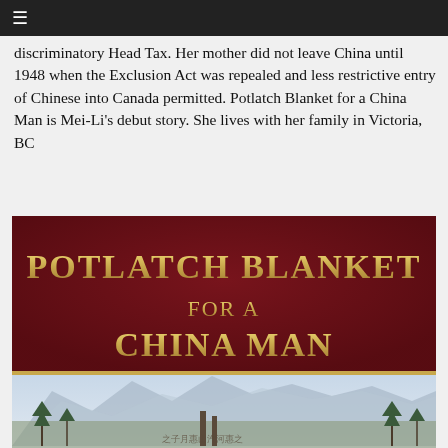≡
discriminatory Head Tax. Her mother did not leave China until 1948 when the Exclusion Act was repealed and less restrictive entry of Chinese into Canada permitted. Potlatch Blanket for a China Man is Mei-Li's debut story. She lives with her family in Victoria, BC
[Figure (photo): Book cover of 'Potlatch Blanket for a China Man' with gold lettering on a dark red background, and a landscape scene with mountains and trees at the bottom.]